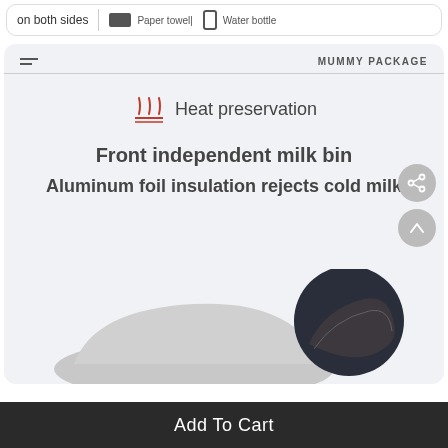on both sides
Paper towel
Water bottle
MUMMY PACKAGE
Heat preservation
Front independent milk bin
Aluminum foil insulation rejects cold milk
[Figure (photo): Product image of a diaper bag/mummy bag showing insulated front pocket compartment]
Add To Cart